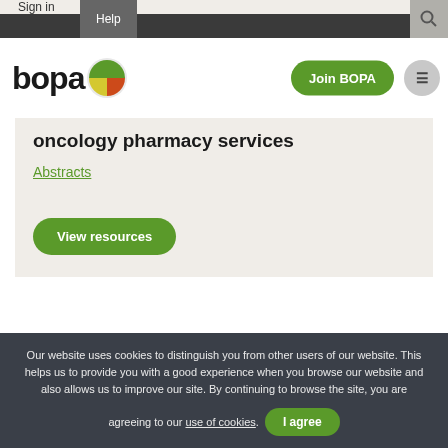Sign in | Help
[Figure (logo): BOPA logo with pie-chart icon in green, yellow and red segments]
Join BOPA
oncology pharmacy services
Abstracts
View resources
Last reviewed: 08/10/21 by Richard Parry
Our website uses cookies to distinguish you from other users of our website. This helps us to provide you with a good experience when you browse our website and also allows us to improve our site. By continuing to browse the site, you are agreeing to our use of cookies.
I agree